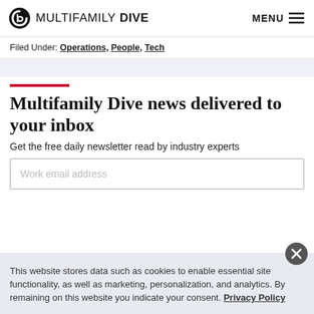MULTIFAMILY DIVE | MENU
Filed Under: Operations, People, Tech
Multifamily Dive news delivered to your inbox
Get the free daily newsletter read by industry experts
Work email address
This website stores data such as cookies to enable essential site functionality, as well as marketing, personalization, and analytics. By remaining on this website you indicate your consent. Privacy Policy